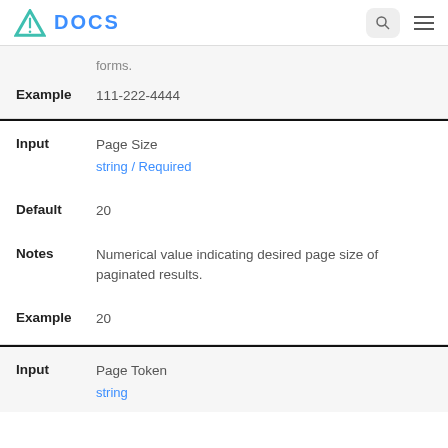DOCS
| Example | 111-222-4444 |
| Input | Page Size
string / Required |
| Default | 20 |
| Notes | Numerical value indicating desired page size of paginated results. |
| Example | 20 |
| Input | Page Token
string |